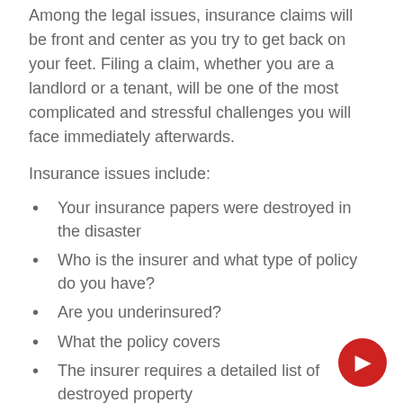Among the legal issues, insurance claims will be front and center as you try to get back on your feet. Filing a claim, whether you are a landlord or a tenant, will be one of the most complicated and stressful challenges you will face immediately afterwards.
Insurance issues include:
Your insurance papers were destroyed in the disaster
Who is the insurer and what type of policy do you have?
Are you underinsured?
What the policy covers
The insurer requires a detailed list of destroyed property